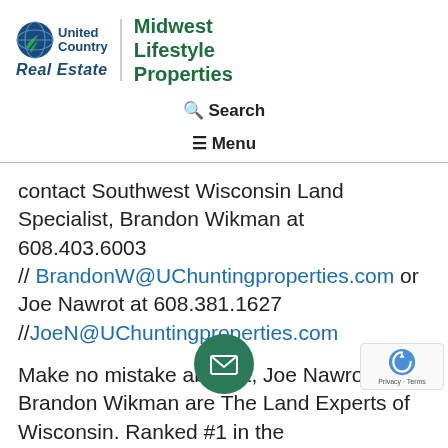[Figure (logo): United Country Real Estate | Midwest Lifestyle Properties logo with globe icon]
🔍 Search
≡ Menu
contact Southwest Wisconsin Land Specialist, Brandon Wikman at 608.403.6003 // BrandonW@UChuntingproperties.com or Joe Nawrot at 608.381.1627 // JoeN@UChuntingproperties.com
Make no mistake about it, Joe Nawrot and Brandon Wikman are The Land Experts of Wisconsin. Ranked #1 in the